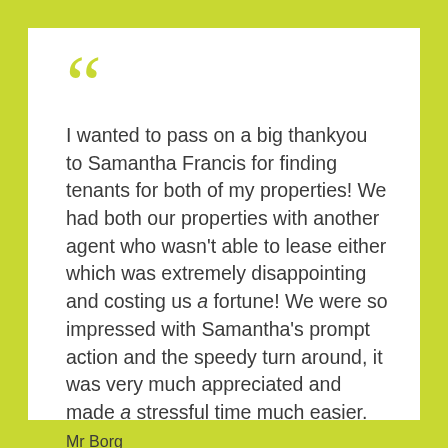I wanted to pass on a big thankyou to Samantha Francis for finding tenants for both of my properties! We had both our properties with another agent who wasn't able to lease either which was extremely disappointing and costing us a fortune! We were so impressed with Samantha's prompt action and the speedy turn around, it was very much appreciated and made a stressful time much easier.
Mr Borg